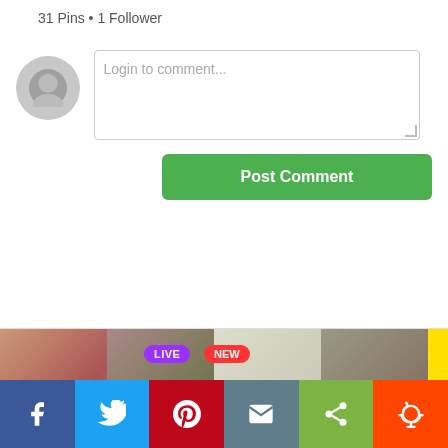31 Pins • 1 Follower
[Figure (screenshot): Comment box area with avatar placeholder and Login to comment... text input, and Post Comment green button]
[Figure (photo): Adult advertising banner with LIVE and NEW badges, text: Lascivious pussycats are waiting for you!]
Pinned onto Beautiful Big Tits
[Figure (photo): Row of 6 thumbnail images pinned onto Beautiful Big Tits board]
Also from babesrater.com
[Figure (infographic): Social share bar with Facebook, Twitter, Pinterest, Email, Share, Reddit buttons]